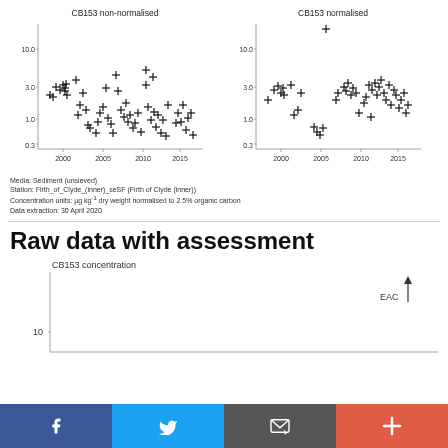[Figure (continuous-plot): CB153 non-normalised scatter plot with + markers, y-axis log scale (0.3 to 10.0), x-axis years 2000-2017, dense cluster of points varying from ~0.3 to ~3.0]
[Figure (continuous-plot): CB153 normalised scatter plot with + markers, y-axis log scale (0.3 to 10.0), x-axis years 2000-2017, one high outlier ~14, cluster mostly 1.0-3.0]
Media: Sediment (unsieved)
Station: Firth_of_Clyde_(inner)_seSF (Firth of Clyde (inner))
Concentration units: µg kg⁻¹ dry weight normalised to 2.5% organic carbon
Data extraction: 30 April 2020
Raw data with assessment
[Figure (continuous-plot): CB153 concentration time series scatter plot (partial view), y-axis showing 10, EAC arrow label top right, one + point visible, x-axis cut off at bottom]
Social sharing bar with Facebook, Twitter, email, and plus buttons